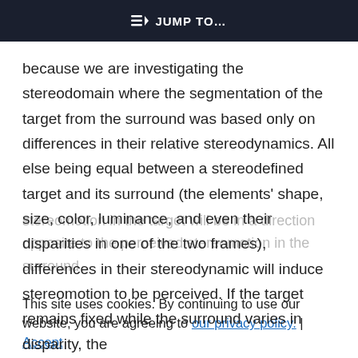JUMP TO...
because we are investigating the stereodomain where the segmentation of the target from the surround was based only on differences in their relative stereodynamics. All else being equal between a stereodefined target and its surround (the elements' shape, size, color, luminance, and even their disparities in one of the two frames), differences in their stereodynamic will induce stereomotion to be perceived. If the target remains fixed while the surround varies in disparity, the
stereomotion in the target will be in a direction opposite to the perceived stereomotion in the surround
This site uses cookies. By continuing to use our website, you are agreeing to our privacy policy. Accept